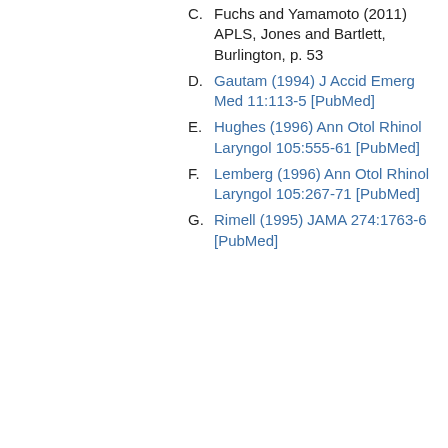C. Fuchs and Yamamoto (2011) APLS, Jones and Bartlett, Burlington, p. 53
D. Gautam (1994) J Accid Emerg Med 11:113-5 [PubMed]
E. Hughes (1996) Ann Otol Rhinol Laryngol 105:555-61 [PubMed]
F. Lemberg (1996) Ann Otol Rhinol Laryngol 105:267-71 [PubMed]
G. Rimell (1995) JAMA 274:1763-6 [PubMed]